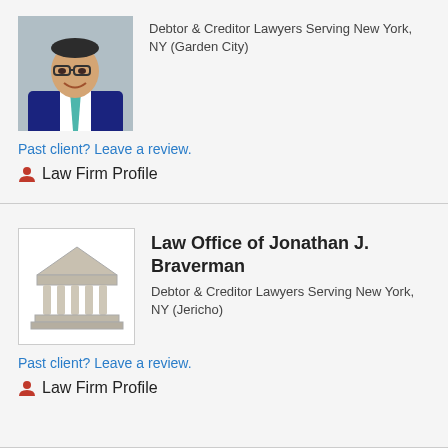[Figure (photo): Professional headshot of a man in a dark suit with a teal tie and glasses, smiling]
Debtor & Creditor Lawyers Serving New York, NY (Garden City)
Past client? Leave a review.
Law Firm Profile
[Figure (logo): Law firm logo: a grey illustrated courthouse/building icon]
Law Office of Jonathan J. Braverman
Debtor & Creditor Lawyers Serving New York, NY (Jericho)
Past client? Leave a review.
Law Firm Profile